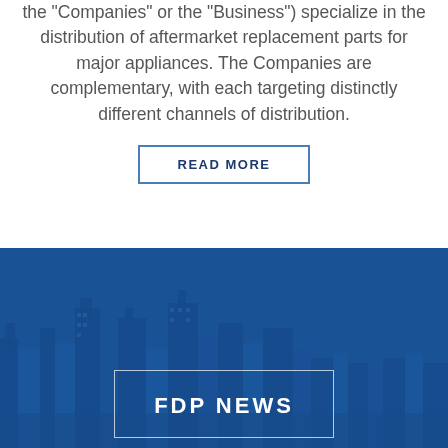the "Companies" or the "Business") specialize in the distribution of aftermarket replacement parts for major appliances. The Companies are complementary, with each targeting distinctly different channels of distribution.
READ MORE
[Figure (photo): Dark blue city skyline background with a white-bordered box containing the text FDP NEWS]
FDP NEWS